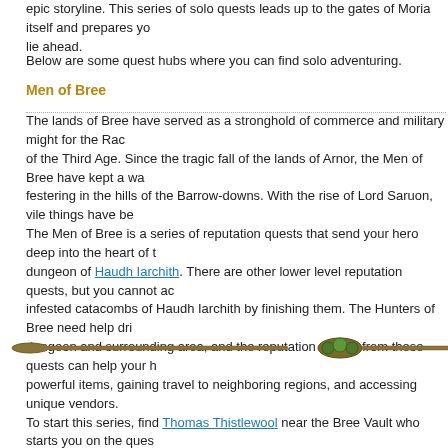epic storyline. This series of solo quests leads up to the gates of Moria itself and prepares you for the challenges that lie ahead.
Below are some quest hubs where you can find solo adventuring.
Men of Bree
The lands of Bree have served as a stronghold of commerce and military might for the Race of Men since the early days of the Third Age. Since the tragic fall of the lands of Arnor, the Men of Bree have kept a watchful eye on the evil festering in the hills of the Barrow-downs. With the rise of Lord Saruon, vile things have been stirring. The Men of Bree is a series of reputation quests that send your hero deep into the heart of the undead-infested dungeon of Haudh Iarchith. There are other lower level reputation quests, but you cannot access the undead-infested catacombs of Haudh Iarchith by finishing them. The Hunters of Bree need help driving the evil from this dungeon and surrounding area, and the reputation gained from these quests can help your hero in many ways, including powerful items, gaining travel to neighboring regions, and accessing unique vendors. To start this series, find Thomas Thistlewool near the Bree Vault who starts you on the quest Thistlewool's Sullied Name. In addition, the Deed quests Brood-hunter and Grave-digger can be completed within the tunnels of Haudh Iarchith. Gaining reputation with the Men of Bree can get you access to the lands of Evendim, Eregion, Trollshaws, Misty Mountains, Angmar, Forochel, and Enedwaith, as well as the town of Esteldin in the North Downs, the Rohirrim camp of Ost Guruth in the Lone-lands, and the village of Aughaire in Angmar, the halls of Thorin's Gate in Ered Luin, the refuge of Echad Candelleth in the Trollshaws, the settlement of Lhanuch in Enedwaith, the village of Tinnudir in Evendim, the hidden village of Echad Mirobel in Eregion, kylÃ¤ and the lands of Forochel.
[Figure (illustration): Decorative horizontal ornament bar with bronze/gold ends and green gem detail in the center]